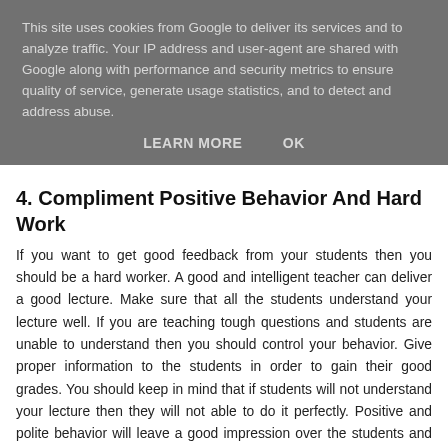This site uses cookies from Google to deliver its services and to analyze traffic. Your IP address and user-agent are shared with Google along with performance and security metrics to ensure quality of service, generate usage statistics, and to detect and address abuse.
LEARN MORE    OK
4. Compliment Positive Behavior And Hard Work
If you want to get good feedback from your students then you should be a hard worker. A good and intelligent teacher can deliver a good lecture. Make sure that all the students understand your lecture well. If you are teaching tough questions and students are unable to understand then you should control your behavior. Give proper information to the students in order to gain their good grades. You should keep in mind that if students will not understand your lecture then they will not able to do it perfectly. Positive and polite behavior will leave a good impression over the students and student will like you. Therefore, you should give positive